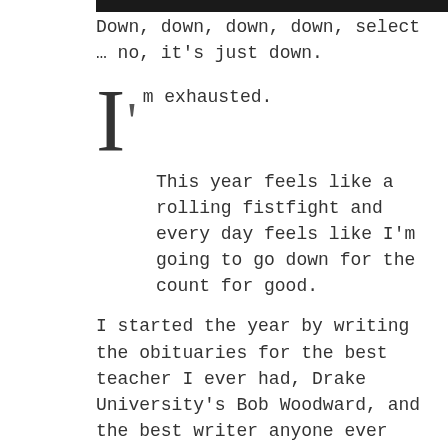[Figure (other): Black horizontal bar at top of page]
Down, down, down, down, select … no, it's just down.
I'm exhausted.

This year feels like a rolling fistfight and every day feels like I'm going to go down for the count for good.
I started the year by writing the obituaries for the best teacher I ever had, Drake University's Bob Woodward, and the best writer anyone ever knew, Ken Fuson.
Then came pneumonia. COVID-19 arrived. The world shut down. The greedy corporate hustlers